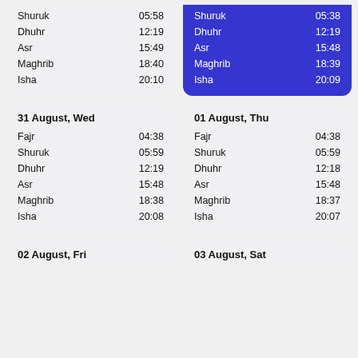| Prayer | Time |
| --- | --- |
| Shuruk | 05:58 |
| Dhuhr | 12:19 |
| Asr | 15:49 |
| Maghrib | 18:40 |
| Isha | 20:10 |
| Prayer | Time |
| --- | --- |
| Shuruk | 05:38 |
| Dhuhr | 12:19 |
| Asr | 15:48 |
| Maghrib | 18:39 |
| Isha | 20:09 |
31 August, Wed
01 August, Thu
| Prayer | Time |
| --- | --- |
| Fajr | 04:38 |
| Shuruk | 05:59 |
| Dhuhr | 12:19 |
| Asr | 15:48 |
| Maghrib | 18:38 |
| Isha | 20:08 |
| Prayer | Time |
| --- | --- |
| Fajr | 04:38 |
| Shuruk | 05:59 |
| Dhuhr | 12:18 |
| Asr | 15:48 |
| Maghrib | 18:37 |
| Isha | 20:07 |
02 August, Fri
03 August, Sat